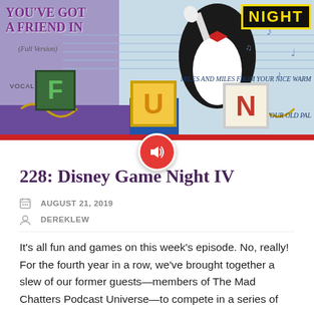[Figure (screenshot): Thumbnail image for a podcast episode showing a penguin figure holding a microphone, colorful letter blocks spelling F-U-N, sheet music background, and text overlays including 'YOU'VE GOT A FRIEND IN...(Full Version)', 'NIGHT' in a marquee sign, 'MILES AND MILES FROM YOUR NICE WARM...' and 'ER WHAT YOUR OLD PAL...' A red play/audio button is overlaid at the bottom center.]
228: Disney Game Night IV
AUGUST 21, 2019
DEREKLEW
It's all fun and games on this week's episode. No, really! For the fourth year in a row, we've brought together a slew of our former guests—members of The Mad Chatters Podcast Universe—to compete in a series of